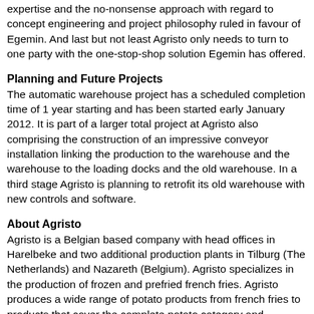expertise and the no-nonsense approach with regard to concept engineering and project philosophy ruled in favour of Egemin. And last but not least Agristo only needs to turn to one party with the one-stop-shop solution Egemin has offered.
Planning and Future Projects
The automatic warehouse project has a scheduled completion time of 1 year starting and has been started early January 2012. It is part of a larger total project at Agristo also comprising the construction of an impressive conveyor installation linking the production to the warehouse and the warehouse to the loading docks and the old warehouse. In a third stage Agristo is planning to retrofit its old warehouse with new controls and software.
About Agristo
Agristo is a Belgian based company with head offices in Harelbeke and two additional production plants in Tilburg (The Netherlands) and Nazareth (Belgium). Agristo specializes in the production of frozen and prefried french fries. Agristo produces a wide range of potato products from french fries to products that cover the complete potato category and specialises in 'own label' solutions. Agristo was founded in 1985, the